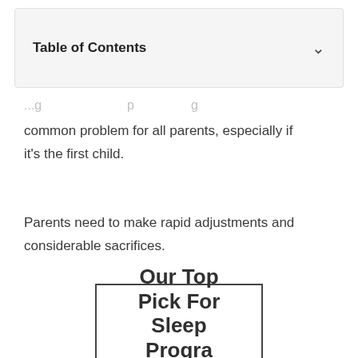Table of Contents
common problem for all parents, especially if it's the first child.
Parents need to make rapid adjustments and considerable sacrifices.
[Figure (other): Promotional box with text: Our Top Pick For Sleep Program]